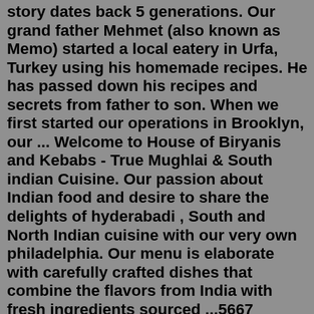story dates back 5 generations. Our grand father Mehmet (also known as Memo) started a local eatery in Urfa, Turkey using his homemade recipes. He has passed down his recipes and secrets from father to son. When we first started our operations in Brooklyn, our ... Welcome to House of Biryanis and Kebabs - True Mughlai & South indian Cuisine. Our passion about Indian food and desire to share the delights of hyderabadi , South and North Indian cuisine with our very own philadelphia. Our menu is elaborate with carefully crafted dishes that combine the flavors from India with fresh ingredients sourced ...5667 Vineland Road. Orlando, FL 32819. Get Directions. P: (407) 345 5490. ORDER NOW FOR KISSAMMEE. ORDER NOW FOR ORLANDO. Find 18 listings related to Kebab House in Westborough on YP.com. See reviews, photos, directions, phone numbers and more for Kebab House locations in Westborough, MA. MoMo's Kebab. Home Menus Moving Truck Renton Restaurant South Park/ Capitol Hill Order Online